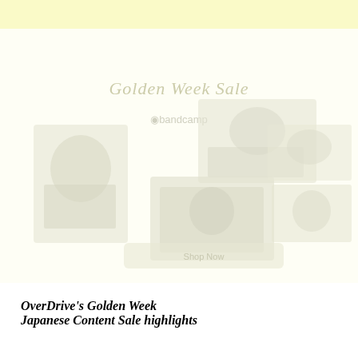[Figure (screenshot): Faded/watermarked promotional banner image for OverDrive's Golden Week Sale featuring the text 'Golden Week Sale' and a bandcamp logo, with several manga/book cover images shown in a washed-out style]
OverDrive's Golden Week Japanese Content Sale highlights